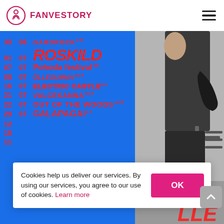[Figure (screenshot): Fanvestory website header with logo (circle with person icon) and hamburger menu]
[Figure (infographic): Blue panel listing festival dates and names in red uppercase text: 30 06 GAROROCK FR, 01 07 ROSKILDE (large italic), 07 07 Pohoda festival SK, 08 07 Õllesumma EST, 16 07 ELECTRIC CASTLE RO (outline), 21 07 VALCEKANNA EST, 22 07 OUT OF THE WOODS AUT, 29 07 GALAPAGAI LT; right side shows grayscale photo of person]
Cookies help us deliver our services. By using our services, you agree to our use of cookies. Learn more